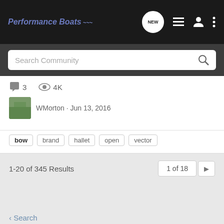Performance Boats
Search Community
3   4K   WMorton · Jun 13, 2016
bow   brand   hallet   open   vector
1-20 of 345 Results   1 of 18
< Search
Home   About Us   Terms of Use   Privacy Policy   Help   Business Directory   Contact Us   |   Grow Your Business   NEW   VerticalScope Inc. 111 Peter Street Suite 600, Toronto